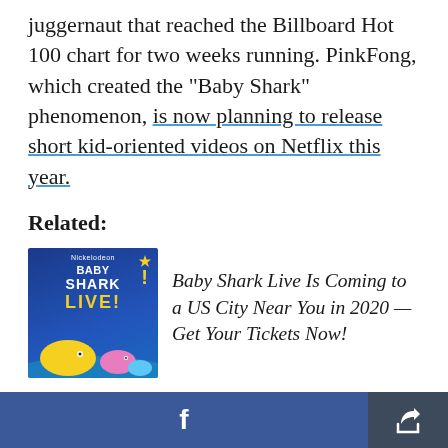juggernaut that reached the Billboard Hot 100 chart for two weeks running. PinkFong, which created the "Baby Shark" phenomenon, is now planning to release short kid-oriented videos on Netflix this year.
Related:
[Figure (photo): Baby Shark Live promotional image showing cartoon sharks on blue background]
Baby Shark Live Is Coming to a US City Near You in 2020 — Get Your Tickets Now!
If the idea of this song invading a beloved
Facebook share button and general share button